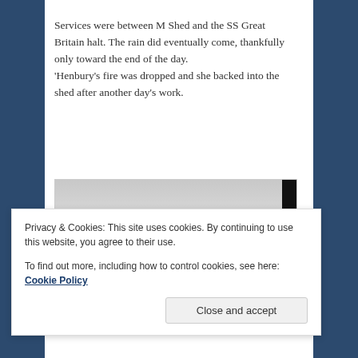Services were between M Shed and the SS Great Britain halt. The rain did eventually come, thankfully only toward the end of the day.
'Henbury's fire was dropped and she backed into the shed after another day's work.
[Figure (photo): Outdoor photograph showing a grey overcast sky with clouds, with a black strip on the right edge.]
Privacy & Cookies: This site uses cookies. By continuing to use this website, you agree to their use.
To find out more, including how to control cookies, see here: Cookie Policy